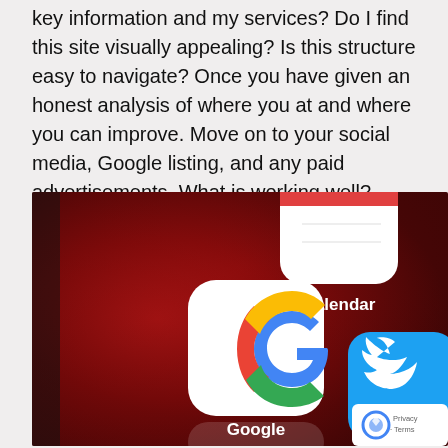key information and my services? Do I find this site visually appealing? Is this structure easy to navigate? Once you have given an honest analysis of where you at and where you can improve. Move on to your social media, Google listing, and any paid advertisements. What is working well? What can I improve?
[Figure (photo): Close-up photo of a smartphone screen showing app icons on a dark red background. The Google app icon (colorful G logo in a white rounded square) is prominently centered, with the Calendar app above it, and Twitter (blue bird in a blue rounded square) visible at the right edge. App labels show 'Calendar', 'Google', and 'Twitte' (Twitter cut off). A reCAPTCHA privacy badge appears in the bottom-right corner showing the reCAPTCHA logo and 'Privacy · Terms' text.]